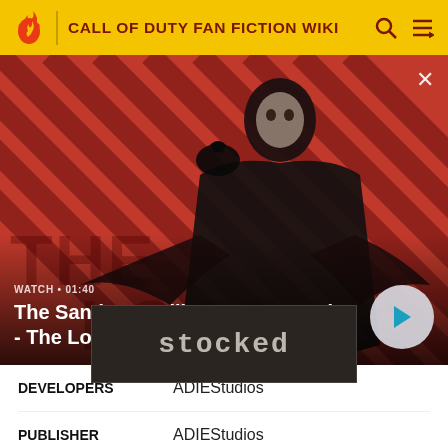CALL OF DUTY FAN FICTION WIKI
[Figure (screenshot): Video thumbnail showing a pale man in black with a raven on shoulder, against a red diagonal striped background. Text overlay: WATCH • 01:40, The Sandman Will Keep You Awake - The Loop. Play button circle on right.]
[Figure (screenshot): Thumbnail image showing the word 'stocked' in stylized text against a dark background]
| DEVELOPERS | ADIEStudios |
| PUBLISHER | ADIEStudios |